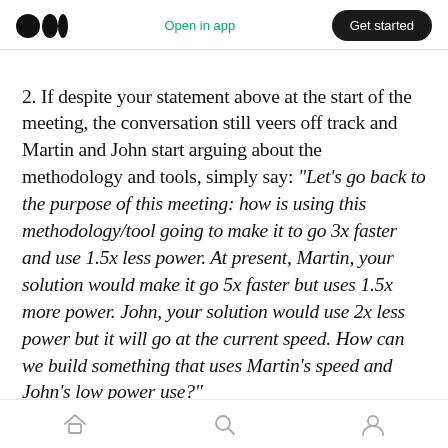Medium logo | Open in app | Get started
2. If despite your statement above at the start of the meeting, the conversation still veers off track and Martin and John start arguing about the methodology and tools, simply say: “Let’s go back to the purpose of this meeting: how is using this methodology/tool going to make it to go 3x faster and use 1.5x less power. At present, Martin, your solution would make it go 5x faster but uses 1.5x more power. John, your solution would use 2x less power but it will go at the current speed. How can we build something that uses Martin’s speed and John’s low power use?”
Home | Search | Profile